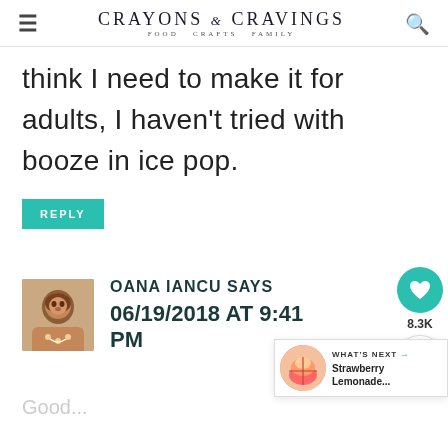CRAYONS & CRAVINGS FOOD CRAFTS FAMILY
think I need to make it for adults, I haven't tried with booze in ice pop.
REPLY
OANA IANCU SAYS 06/19/2018 AT 9:41 PM
Good...